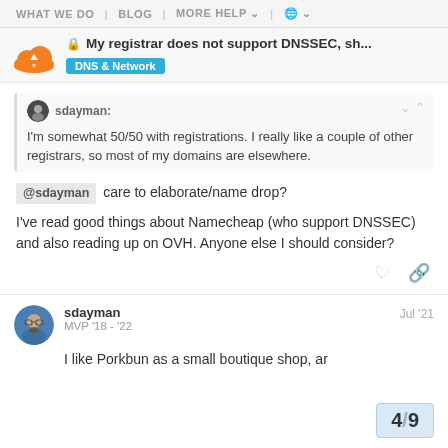WHAT WE DO | BLOG | MORE HELP | 🌐
🔒 My registrar does not support DNSSEC, sh... DNS & Network
sdayman: I'm somewhat 50/50 with registrations. I really like a couple of other registrars, so most of my domains are elsewhere.
@sdayman care to elaborate/name drop?

I've read good things about Namecheap (who support DNSSEC) and also reading up on OVH. Anyone else I should consider?
sdayman MVP '18 - '22   Jul '21

I like Porkbun as a small boutique shop, ar
4 / 9